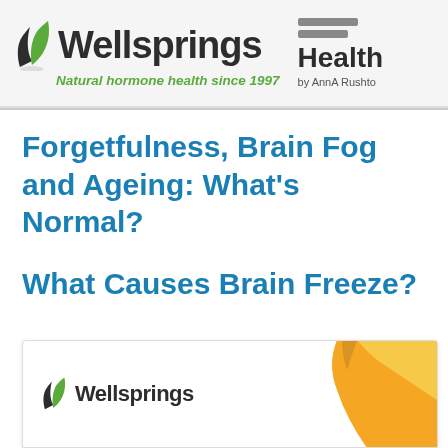[Figure (logo): Wellsprings logo with green leaf icon and tagline 'Natural hormone health since 1997', alongside Health heading with 'by AnnA Rushto' text]
Forgetfulness, Brain Fog and Ageing: What’s Normal?
What Causes Brain Freeze?
[Figure (logo): Wellsprings logo in bottom card with orange decorative element]